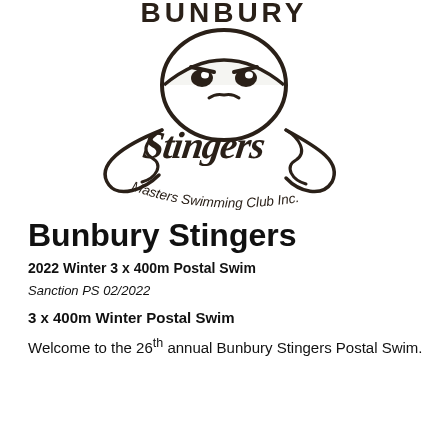[Figure (logo): Bunbury Stingers Masters Swimming Club Inc. logo — a stylized angry jellyfish with the club name in decorative lettering above and 'Masters Swimming Club Inc.' text curving below]
Bunbury Stingers
2022 Winter 3 x 400m Postal Swim
Sanction PS 02/2022
3 x 400m Winter Postal Swim
Welcome to the 26th annual Bunbury Stingers Postal Swim.